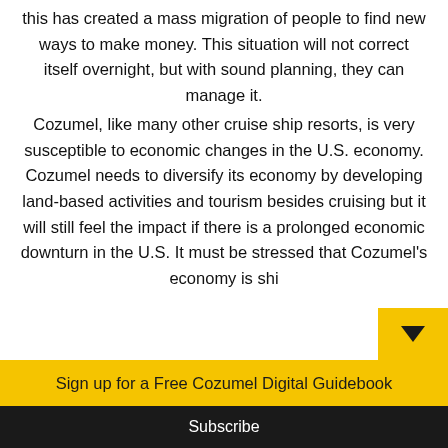this has created a mass migration of people to find new ways to make money. This situation will not correct itself overnight, but with sound planning, they can manage it.

Cozumel, like many other cruise ship resorts, is very susceptible to economic changes in the U.S. economy. Cozumel needs to diversify its economy by developing land-based activities and tourism besides cruising but it will still feel the impact if there is a prolonged economic downturn in the U.S. It must be stressed that Cozumel's economy is shi...
Sign up for a Free Cozumel Digital Guidebook
Your email address..
Subscribe